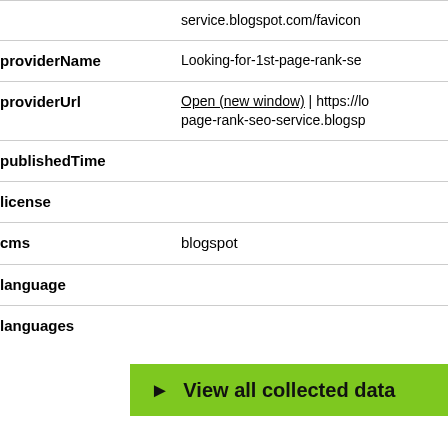| Field | Value |
| --- | --- |
|  | service.blogspot.com/favicon |
| providerName | Looking-for-1st-page-rank-se |
| providerUrl | Open (new window) | https://lo page-rank-seo-service.blogsp |
| publishedTime |  |
| license |  |
| cms | blogspot |
| language |  |
| languages |  |
▶ View all collected data